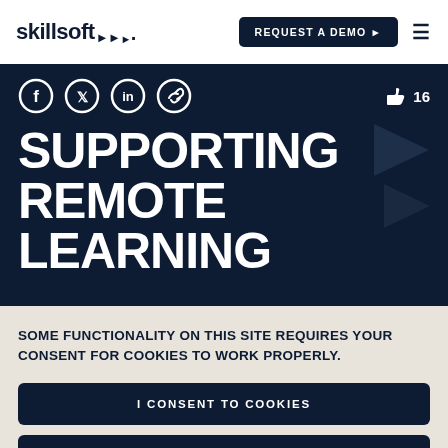skillsoft
[Figure (screenshot): Skillsoft website header with logo, REQUEST A DEMO button, and hamburger menu]
[Figure (infographic): Dark navy section with social media icons (Facebook, Twitter, LinkedIn, Link), like count of 16, two play button triangles, and large bold white text reading SUPPORTING REMOTE LEARNING]
SOME FUNCTIONALITY ON THIS SITE REQUIRES YOUR CONSENT FOR COOKIES TO WORK PROPERLY.
I CONSENT TO COOKIES
I WANT MORE INFORMATION